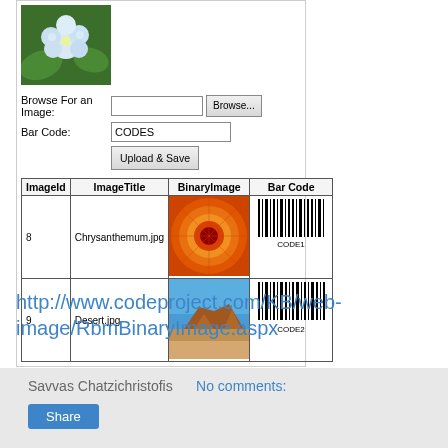[Figure (screenshot): Screenshot of a web application for uploading images with barcode generation. Shows a flower image, a form with 'Browse For an Image' input and Browse button, 'Bar Code' text field with value 'CODES', and an 'Upload & Save' button. Below is a data table with columns ImageId, ImageTitle, BinaryImage, Bar Code, showing two rows: row 8 (Chrysanthemum.jpg with orange flower image and barcode CODE1) and row 9 (Desert.jpg with desert image and barcode CODE2).]
http://www.codeproject.com/KB/web-image/RbmBinaryImage.aspx
Savvas Chatzichristofis    No comments:
Share